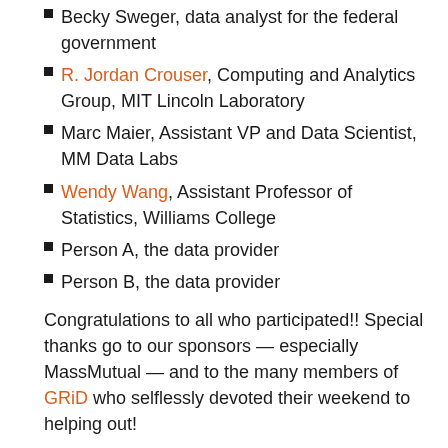Becky Sweger, data analyst for the federal government
R. Jordan Crouser, Computing and Analytics Group, MIT Lincoln Laboratory
Marc Maier, Assistant VP and Data Scientist, MM Data Labs
Wendy Wang, Assistant Professor of Statistics, Williams College
Person A, the data provider
Person B, the data provider
Congratulations to all who participated!! Special thanks go to our sponsors — especially MassMutual — and to the many members of GRiD who selflessly devoted their weekend to helping out!
Check out #datafest on Twitter for more pictures and info.
Only 363 days until next year's DataFest…